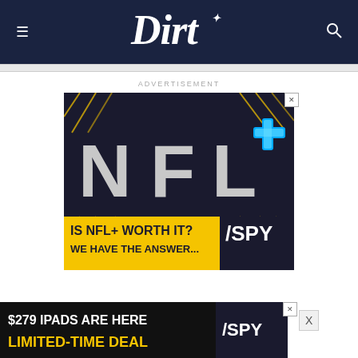Dirt
ADVERTISEMENT
[Figure (photo): NFL+ advertisement banner showing the NFL+ logo in 3D letters with a blue glowing plus sign, on a dark background with yellow diagonal accents. Text reads 'IS NFL+ WORTH IT? WE HAVE THE ANSWER...' with SPY branding.]
[Figure (photo): Advertisement banner reading '$279 IPADS ARE HERE LIMITED-TIME DEAL' with SPY branding on dark background.]